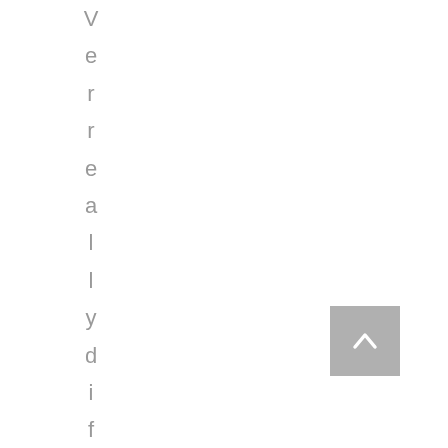Verreally difficult
[Figure (other): Back to top button with upward chevron arrow on grey background]